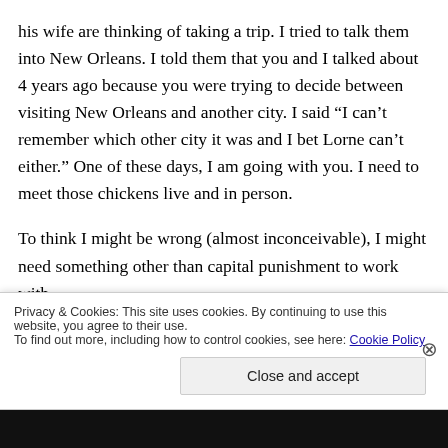his wife are thinking of taking a trip. I tried to talk them into New Orleans. I told them that you and I talked about 4 years ago because you were trying to decide between visiting New Orleans and another city. I said “I can’t remember which other city it was and I bet Lorne can’t either.” One of these days, I am going with you. I need to meet those chickens live and in person.
To think I might be wrong (almost inconceivable), I might need something other than capital punishment to work with.
Privacy & Cookies: This site uses cookies. By continuing to use this website, you agree to their use.
To find out more, including how to control cookies, see here: Cookie Policy
Close and accept